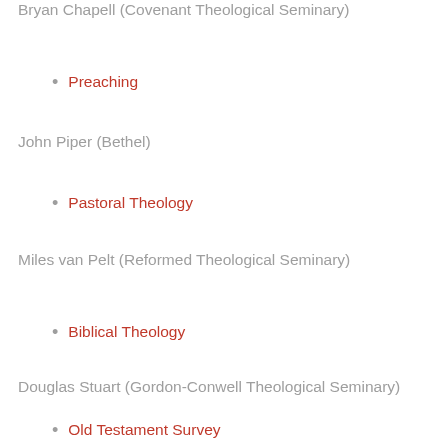Bryan Chapell (Covenant Theological Seminary)
Preaching
John Piper (Bethel)
Pastoral Theology
Miles van Pelt (Reformed Theological Seminary)
Biblical Theology
Douglas Stuart (Gordon-Conwell Theological Seminary)
Old Testament Survey